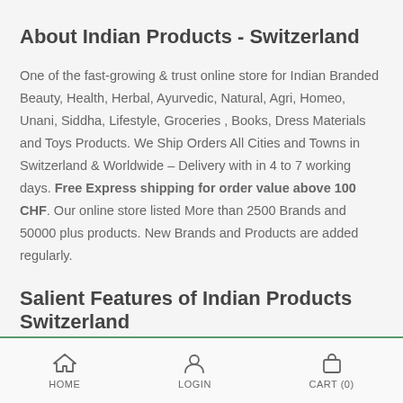About Indian Products - Switzerland
One of the fast-growing & trust online store for Indian Branded Beauty, Health, Herbal, Ayurvedic, Natural, Agri, Homeo, Unani, Siddha, Lifestyle, Groceries , Books, Dress Materials and Toys Products. We Ship Orders All Cities and Towns in Switzerland & Worldwide – Delivery with in 4 to 7 working days. Free Express shipping for order value above 100 CHF. Our online store listed More than 2500 Brands and 50000 plus products. New Brands and Products are added regularly.
Salient Features of Indian Products Switzerland
HOME  LOGIN  CART (0)